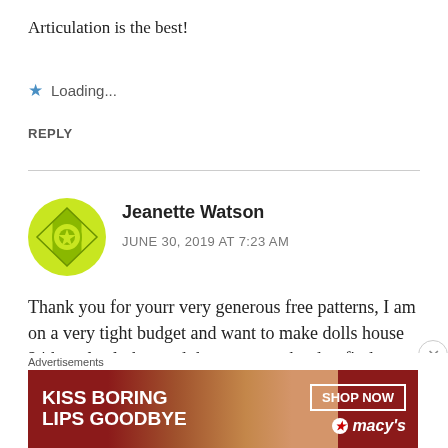Articulation is the best!
★ Loading...
REPLY
[Figure (illustration): Green geometric/floral avatar icon for commenter Jeanette Watson]
Jeanette Watson
JUNE 30, 2019 AT 7:23 AM
Thank you for yourr very generous free patterns, I am on a very tight budget and want to make dolls house 24th scale clothes and they are very hard to find, so you smallest beauties have mad my day. I
[Figure (photo): Macy's advertisement banner: 'KISS BORING LIPS GOODBYE' with SHOP NOW button and Macy's logo, featuring a woman's face]